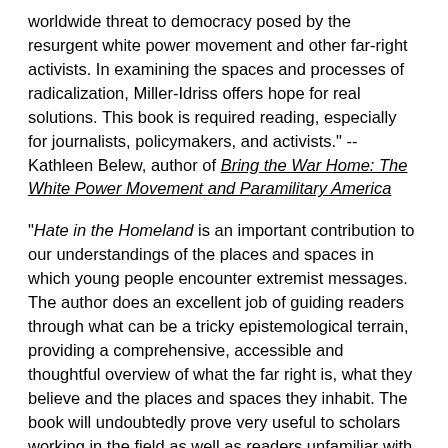worldwide threat to democracy posed by the resurgent white power movement and other far-right activists. In examining the spaces and processes of radicalization, Miller-Idriss offers hope for real solutions. This book is required reading, especially for journalists, policymakers, and activists." -- Kathleen Belew, author of Bring the War Home: The White Power Movement and Paramilitary America
"Hate in the Homeland is an important contribution to our understandings of the places and spaces in which young people encounter extremist messages. The author does an excellent job of guiding readers through what can be a tricky epistemological terrain, providing a comprehensive, accessible and thoughtful overview of what the far right is, what they believe and the places and spaces they inhabit. The book will undoubtedly prove very useful to scholars working in the field as well as readers unfamiliar with the topic." -- Katherine Williams, London School of Economics Review of Books
About the Author: